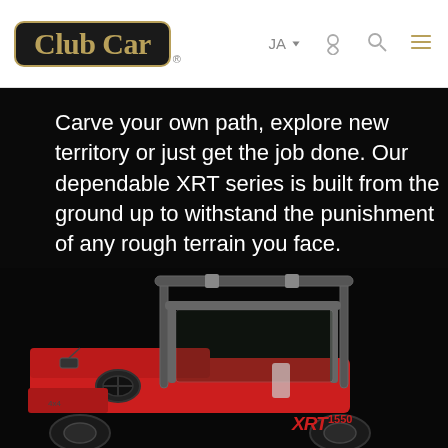[Figure (logo): Club Car logo — black rounded rectangle with gold border, gold serif text 'Club Car' with registered trademark symbol]
JA  [location icon]  [search icon]  [menu icon]
Carve your own path, explore new territory or just get the job done. Our dependable XRT series is built from the ground up to withstand the punishment of any rough terrain you face.
[Figure (photo): Club Car XRT 1550 utility vehicle on black background — red body with roll cage frame and windshield visible, steering wheel, XRT 1550 logo on side]